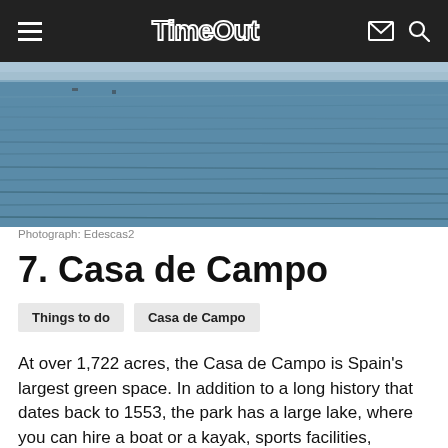Time Out
[Figure (photo): Blue water/lake surface with subtle wave texture, light sky at horizon, possibly a reservoir or lake at Casa de Campo]
Photograph: Edescas2
7. Casa de Campo
Things to do   Casa de Campo
At over 1,722 acres, the Casa de Campo is Spain's largest green space. In addition to a long history that dates back to 1553, the park has a large lake, where you can hire a boat or a kayak, sports facilities, numerous paths through the trees and bushes for running and cycling, and various leisure facilities like the famous cable car, an amusement